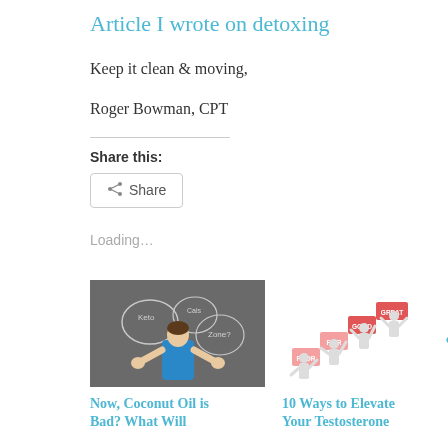Article I wrote on detoxing
Keep it clean & moving,
Roger Bowman, CPT
Share this:
Share
Loading...
[Figure (photo): Person in blue tank top standing in front of a chalkboard with diet plan circles written on it]
Now, Coconut Oil is Bad? What Will
[Figure (illustration): 3D figures holding up blocks labeled POOR, FAIR, GOOD, GREAT]
10 Ways to Elevate Your Testosterone